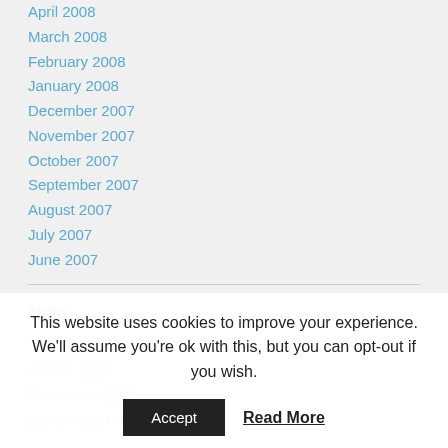April 2008
March 2008
February 2008
January 2008
December 2007
November 2007
October 2007
September 2007
August 2007
July 2007
June 2007
Meta
Log in
Entries RSS
Comments RSS
WordPress.org
This website uses cookies to improve your experience. We'll assume you're ok with this, but you can opt-out if you wish.